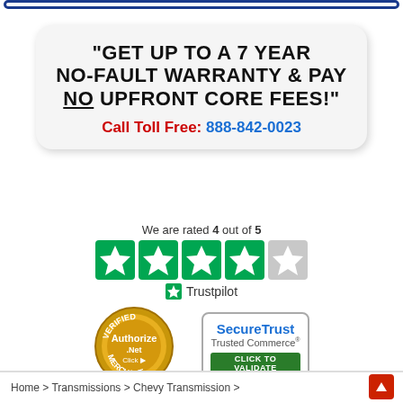"GET UP TO A 7 YEAR NO-FAULT WARRANTY & PAY NO UPFRONT CORE FEES!" Call Toll Free: 888-842-0023
We are rated 4 out of 5
[Figure (logo): Trustpilot rating: 4 out of 5 stars with green star badges and Trustpilot logo]
[Figure (logo): Authorize.Net Verified Merchant badge]
[Figure (logo): SecureTrust Trusted Commerce - Click to Validate badge]
Home > Transmissions > Chevy Transmission >